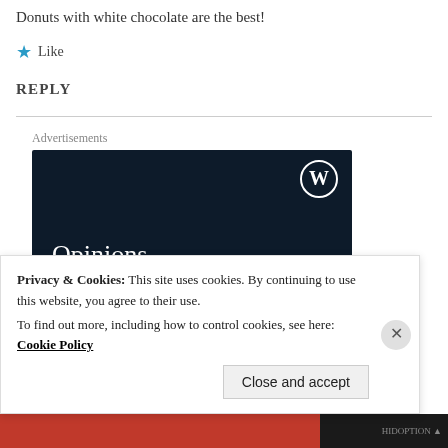Donuts with white chocolate are the best!
★ Like
REPLY
[Figure (screenshot): WordPress advertisement banner with dark navy background showing WordPress logo (W in circle) in top right, text 'Opinions.' and partial text 'We all have them.' in white serif font]
Privacy & Cookies: This site uses cookies. By continuing to use this website, you agree to their use. To find out more, including how to control cookies, see here: Cookie Policy
Close and accept